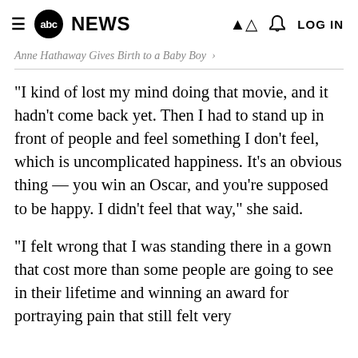≡ abc NEWS   🔔 LOG IN
Anne Hathaway Gives Birth to a Baby Boy →
"I kind of lost my mind doing that movie, and it hadn't come back yet. Then I had to stand up in front of people and feel something I don't feel, which is uncomplicated happiness. It's an obvious thing — you win an Oscar, and you're supposed to be happy. I didn't feel that way," she said.
"I felt wrong that I was standing there in a gown that cost more than some people are going to see in their lifetime and winning an award for portraying pain that still felt very